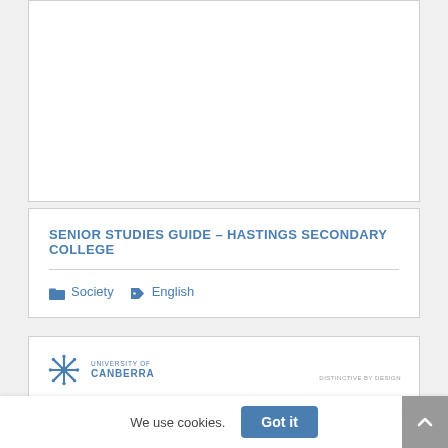[Figure (other): Empty white card / image placeholder at top of page]
SENIOR STUDIES GUIDE - HASTINGS SECONDARY COLLEGE
Society  English
[Figure (logo): University of Canberra logo with snowflake icon and tagline DISTINCTIVE BY DESIGN]
We use cookies.
Got it